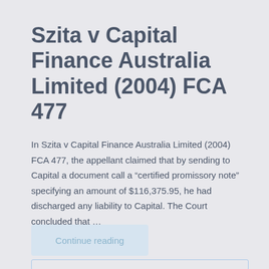Szita v Capital Finance Australia Limited (2004) FCA 477
In Szita v Capital Finance Australia Limited (2004) FCA 477, the appellant claimed that by sending to Capital a document call a “certified promissory note” specifying an amount of $116,375.95, he had discharged any liability to Capital. The Court concluded that …
Continue reading